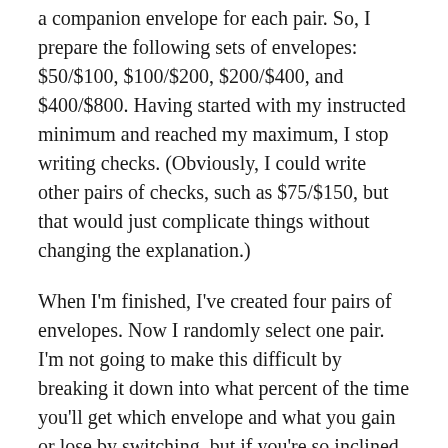a companion envelope for each pair. So, I prepare the following sets of envelopes: $50/$100, $100/$200, $200/$400, and $400/$800. Having started with my instructed minimum and reached my maximum, I stop writing checks. (Obviously, I could write other pairs of checks, such as $75/$150, but that would just complicate things without changing the explanation.)
When I'm finished, I've created four pairs of envelopes. Now I randomly select one pair. I'm not going to make this difficult by breaking it down into what percent of the time you'll get which envelope and what you gain or lose by switching, but if you're so inclined, you should be able to map this out for yourself in a few minutes.
What I'm going to tell you is this: If you choose a $100, $200, or $400 envelope, you always gain by switching, because half the time you'll lose half the